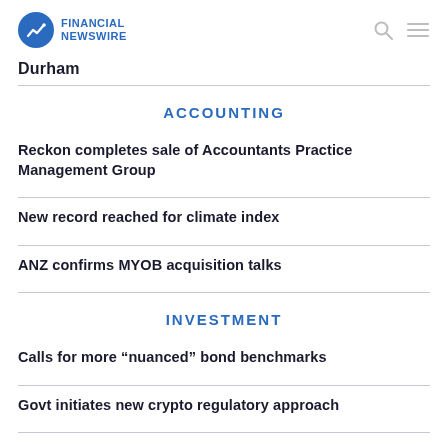Financial Newswire
Durham
ACCOUNTING
Reckon completes sale of Accountants Practice Management Group
New record reached for climate index
ANZ confirms MYOB acquisition talks
INVESTMENT
Calls for more “nuanced” bond benchmarks
Govt initiates new crypto regulatory approach